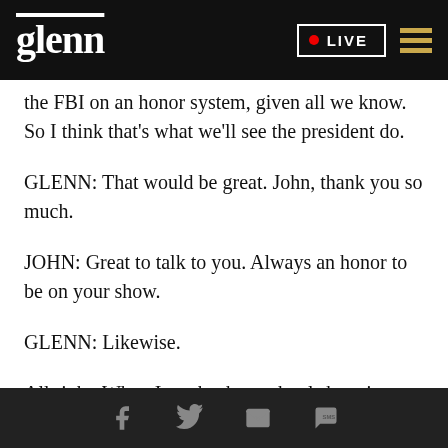glenn  LIVE
the FBI on an honor system, given all we know. So I think that's what we'll see the president do.
GLENN: That would be great. John, thank you so much.
JOHN: Great to talk to you. Always an honor to be on your show.
GLENN: Likewise.
All right. When I say back to school shopping scam, I
Social share icons: Facebook, Twitter, Email, SMS